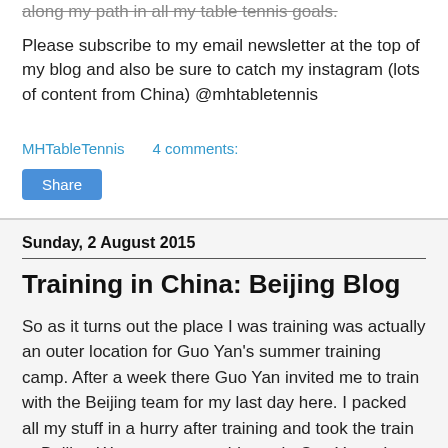along my path in all my table tennis goals.
Please subscribe to my email newsletter at the top of my blog and also be sure to catch my instagram (lots of content from China) @mhtabletennis
MHTableTennis    4 comments:
Share
Sunday, 2 August 2015
Training in China: Beijing Blog
So as it turns out the place I was training was actually an outer location for Guo Yan's summer training camp. After a week there Guo Yan invited me to train with the Beijing team for my last day here. I packed all my stuff in a hurry after training and took the train to Beijing West to see my old coach, Sun Yang. I hadn't seen her for 3 years so it was really nice to catch up and have Korean BBQ. The next day I